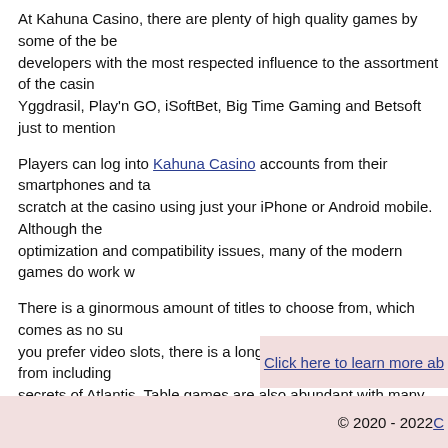At Kahuna Casino, there are plenty of high quality games by some of the best developers with the most respected influence to the assortment of the casino. Yggdrasil, Play'n GO, iSoftBet, Big Time Gaming and Betsoft just to mention…
Players can log into Kahuna Casino accounts from their smartphones and tablets, scratch at the casino using just your iPhone or Android mobile. Although there are optimization and compatibility issues, many of the modern games do work w…
There is a ginormous amount of titles to choose from, which comes as no surprise. If you prefer video slots, there is a long list of games to choose from including secrets of Atlantis. Table games are also abundant with many variations of c…
Kahuna Casino is licensed by the government of Curacao under gaming lice…
To ensure that players are provided with a safe gaming environment, Kahuna account are protected with the latest secure server (SSL) tools to prevent ar…
Visiting its banking segment is amongst the stuff you must try whenever you… the popular options including Visa, Neteller, ecoPayz, Neosurf, Skrill, Master…
Kahuna Casino has guaranteed 24/7 Customer Support of the highest standard using the Live Chat or Email Form available at the website. They have professionally concerns professionally and correctly.
Click here to learn more ab…
© 2020 - 2022 C…